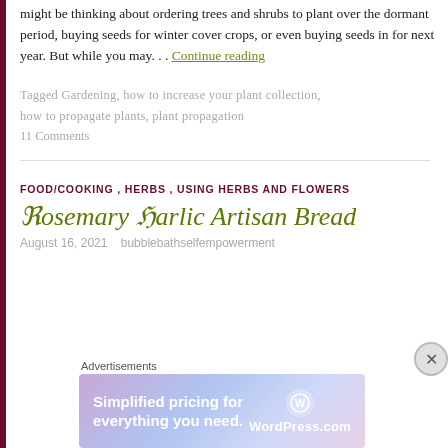might be thinking about ordering trees and shrubs to plant over the dormant period, buying seeds for winter cover crops, or even buying seeds in for next year. But while you may. . . Continue reading
Tagged Gardening, how to increase your plant collection, how to propagate plants, plant propagation
11 Comments
FOOD/COOKING, HERBS, USING HERBS AND FLOWERS
Rosemary Garlic Artisan Bread
August 16, 2021   bubblebathselfempowerment
[Figure (other): WordPress.com advertisement banner: 'Simplified pricing for everything you need.' with WordPress.com logo]